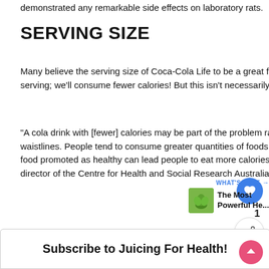demonstrated any remarkable side effects on laboratory rats.
SERVING SIZE
Many believe the serving size of Coca-Cola Life to be a great feature of the new product. We'll have a smaller serving; we'll consume fewer calories! But this isn't necessarily the case.
“A cola drink with [fewer] calories may be part of the problem rather than the answer to reducing our waistlines. People tend to consume greater quantities of foods they believe to be healthy, and seeing a food promoted as healthy can lead people to eat more calories,” Sandra Jones who is professor and director of the Centre for Health and Social Research Australian Catholic University.
WHAT’S NEXT → The Most Powerful He...
Subscribe to Juicing For Health!